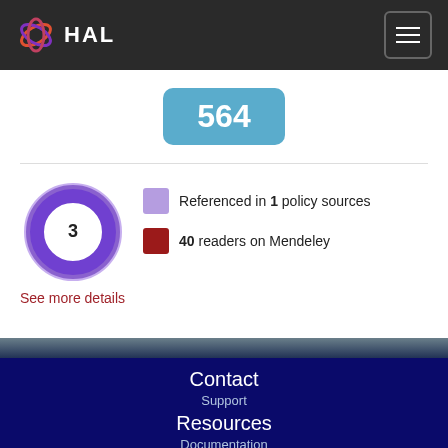HAL
[Figure (donut-chart): Donut chart showing altmetric score of 3, with purple segment for policy sources and red segment for Mendeley readers]
564
Referenced in 1 policy sources
40 readers on Mendeley
See more details
Contact
Support
Resources
Documentation